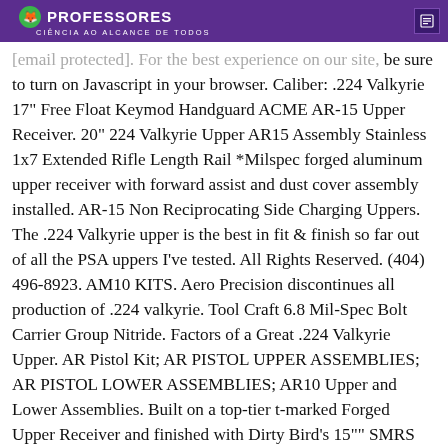CIÊNCIA AO ALCANCE DE TODOS
[email protected]. For the best experience on our site, be sure to turn on Javascript in your browser. Caliber: .224 Valkyrie 17" Free Float Keymod Handguard ACME AR-15 Upper Receiver. 20" 224 Valkyrie Upper AR15 Assembly Stainless 1x7 Extended Rifle Length Rail *Milspec forged aluminum upper receiver with forward assist and dust cover assembly installed. AR-15 Non Reciprocating Side Charging Uppers. The .224 Valkyrie upper is the best in fit & finish so far out of all the PSA uppers I've tested. All Rights Reserved. (404) 496-8923. AM10 KITS. Aero Precision discontinues all production of .224 valkyrie. Tool Craft 6.8 Mil-Spec Bolt Carrier Group Nitride. Factors of a Great .224 Valkyrie Upper. AR Pistol Kit; AR PISTOL UPPER ASSEMBLIES; AR PISTOL LOWER ASSEMBLIES; AR10 Upper and Lower Assemblies. Built on a top-tier t-marked Forged Upper Receiver and finished with Dirty Bird's 15"" SMRS M-LOK Handguard available in several color options. LaRue